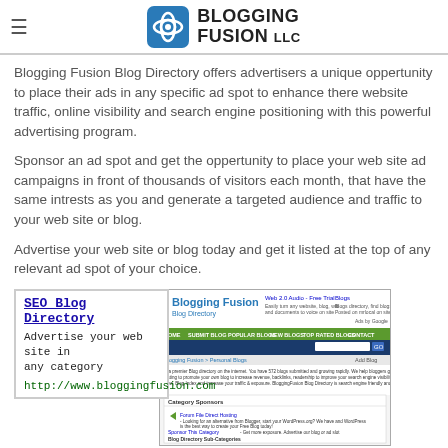Blogging Fusion LLC
Blogging Fusion Blog Directory offers advertisers a unique oppertunity to place their ads in any specific ad spot to enhance there website traffic, online visibility and search engine positioning with this powerful advertising program.
Sponsor an ad spot and get the oppertunity to place your web site ad campaigns in front of thousands of visitors each month, that have the same intrests as you and generate a targeted audience and traffic to your web site or blog.
Advertise your web site or blog today and get it listed at the top of any relevant ad spot of your choice.
SEO Blog Directory
Advertise your web site in any category
http://www.bloggingfusion.com
[Figure (screenshot): Screenshot of Blogging Fusion Blog Directory website showing navigation, category sponsors section, and blog listings]